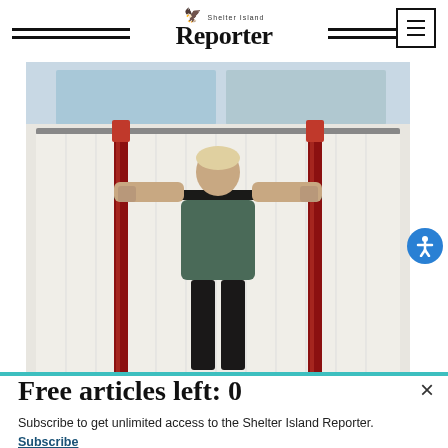Shelter Island Reporter
[Figure (photo): Person doing pull-ups on a pull-up bar stand with red vertical poles and a black horizontal bar, white curtain backdrop, indoor setting]
Free articles left: 0
Subscribe to get unlimited access to the Shelter Island Reporter. Subscribe
Already have an account? Login here